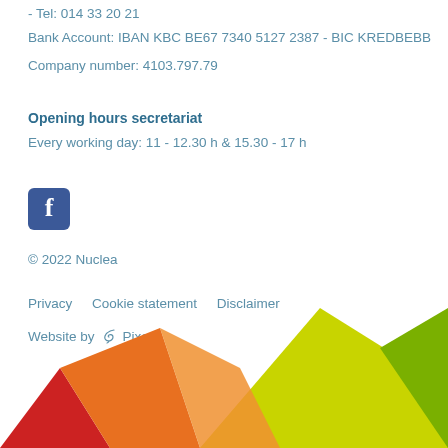- Tel: 014 33 20 21
Bank Account: IBAN KBC BE67 7340 5127 2387 - BIC KREDBEBB
Company number: 4103.797.79
Opening hours secretariat
Every working day: 11 - 12.30 h & 15.30 - 17 h
[Figure (logo): Facebook icon - blue square with white F letter]
© 2022 Nuclea
Privacy   Cookie statement   Disclaimer
Website by  Pixeo
[Figure (illustration): Colorful geometric mountain/triangle shapes at the bottom of the page in red, orange, yellow-green, and green colors]